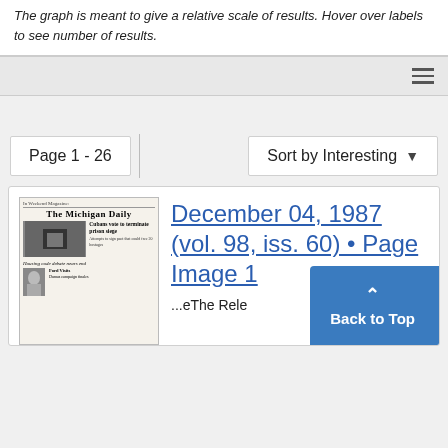The graph is meant to give a relative scale of results. Hover over labels to see number of results.
Page 1 - 26
Sort by Interesting
[Figure (screenshot): Thumbnail of The Michigan Daily newspaper front page, December 04, 1987]
December 04, 1987 (vol. 98, iss. 60) • Page Image 1
...eThe Rele